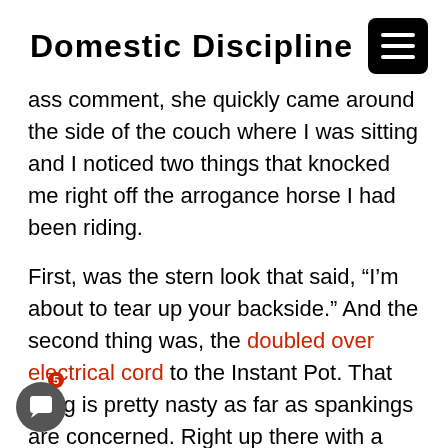Domestic Discipline
ass comment, she quickly came around the side of the couch where I was sitting and I noticed two things that knocked me right off the arrogance horse I had been riding.
First, was the stern look that said, “I’m about to tear up your backside.” And the second thing was, the doubled over electrical cord to the Instant Pot. That thing is pretty nasty as far as spankings are concerned. Right up there with a water soaked cane only each lash with the doubled over cord brings TWO